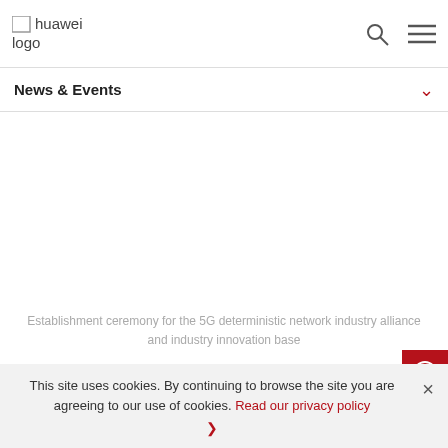[Figure (logo): Huawei logo in top left corner]
News & Events
Establishment ceremony for the 5G deterministic network industry alliance and industry innovation base
Differentiated and deterministic network service capabilities are the key to development of 5G industry applications. Huawei is the first in the industry to propose the idea of Deterministic Network.
This site uses cookies. By continuing to browse the site you are agreeing to our use of cookies. Read our privacy policy